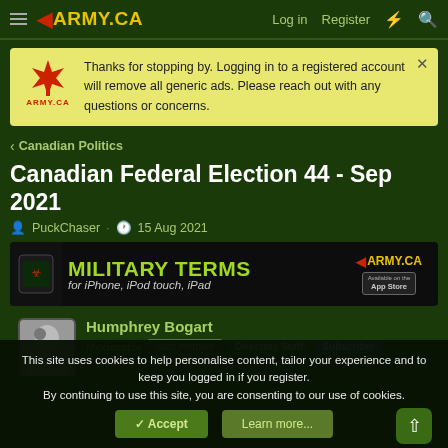ARMY.CA — Log in | Register
Thanks for stopping by. Logging in to a registered account will remove all generic ads. Please reach out with any questions or concerns.
< Canadian Politics
Canadian Federal Election 44 - Sep 2021
PuckChaser · 15 Aug 2021
[Figure (screenshot): Army.ca Military Terms app advertisement banner for iPhone, iPod touch, iPad — App Store]
Humphrey Bogart
Moderator  Staff member  Directing Staff  Subscriber
This site uses cookies to help personalise content, tailor your experience and to keep you logged in if you register.
By continuing to use this site, you are consenting to our use of cookies.
✓ Accept    Learn more...